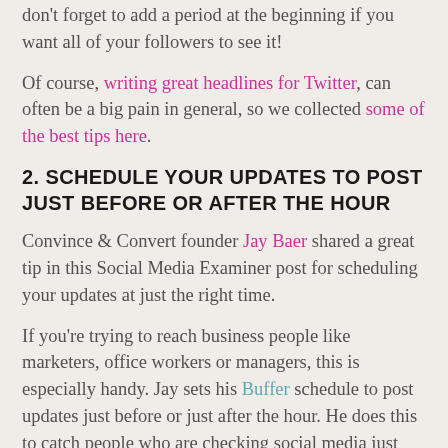don't forget to add a period at the beginning if you want all of your followers to see it!
Of course, writing great headlines for Twitter, can often be a big pain in general, so we collected some of the best tips here.
2. SCHEDULE YOUR UPDATES TO POST JUST BEFORE OR AFTER THE HOUR
Convince & Convert founder Jay Baer shared a great tip in this Social Media Examiner post for scheduling your updates at just the right time.
If you're trying to reach business people like marketers, office workers or managers, this is especially handy. Jay sets his Buffer schedule to post updates just before or just after the hour. He does this to catch people who are checking social media just before or just after a meeting.